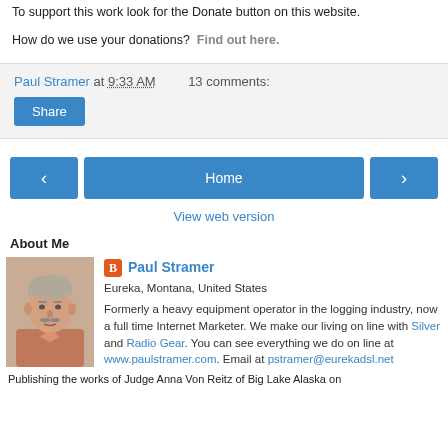To support this work look for the Donate button on this website.
How do we use your donations?  Find out here.
Paul Stramer at 9:33 AM   13 comments:
Share
‹  Home  ›
View web version
About Me
[Figure (photo): Profile photo of Paul Stramer, a man with grey hair and moustache]
Paul Stramer
Eureka, Montana, United States
Formerly a heavy equipment operator in the logging industry, now a full time Internet Marketer. We make our living on line with Silver and Radio Gear. You can see everything we do on line at www.paulstramer.com. Email at pstramer@eurekadsl.net
Publishing the works of Judge Anna Von Reitz of Big Lake Alaska on